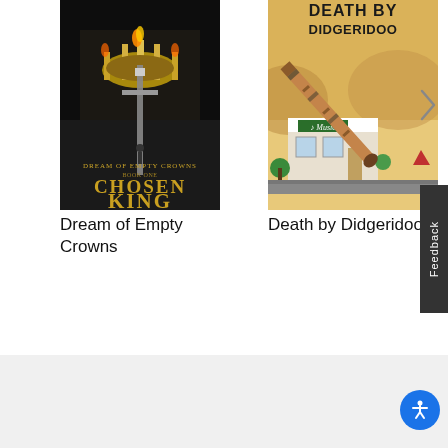[Figure (illustration): Book cover: Dream of Empty Crowns - Chosen King, dark fantasy with crown and sword on dark background]
Dream of Empty Crowns
[Figure (illustration): Book cover: Death by Didgeridoo, illustrated cozy mystery with a didgeridoo instrument in front of a music shop]
Death by Didgeridoo